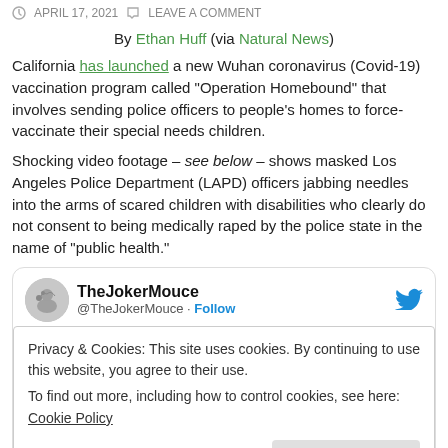APRIL 17, 2021  LEAVE A COMMENT
By Ethan Huff (via Natural News)
California has launched a new Wuhan coronavirus (Covid-19) vaccination program called "Operation Homebound" that involves sending police officers to people's homes to force-vaccinate their special needs children.
Shocking video footage – see below – shows masked Los Angeles Police Department (LAPD) officers jabbing needles into the arms of scared children with disabilities who clearly do not consent to being medically raped by the police state in the name of "public health."
[Figure (screenshot): Embedded tweet from @TheJokerMouce with a cookie consent overlay popup. The overlay reads: 'Privacy & Cookies: This site uses cookies. By continuing to use this website, you agree to their use. To find out more, including how to control cookies, see here: Cookie Policy' with a 'Close and accept' button. Below the overlay, partially visible tweet text begins.]